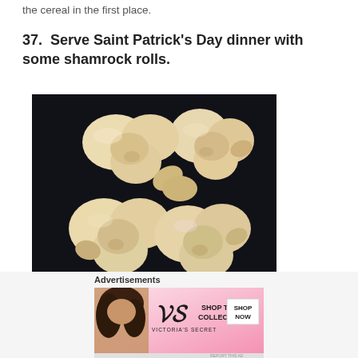the cereal in the first place.
37.  Serve Saint Patrick's Day dinner with some shamrock rolls.
[Figure (photo): Photo of shamrock-shaped bread rolls arranged on a dark surface, showing multiple rolls shaped like four-leaf clovers/shamrocks, golden-brown baked dough]
Advertisements
[Figure (photo): Victoria's Secret advertisement banner showing a woman with curly hair, Victoria's Secret logo, and text 'SHOP THE COLLECTION' with a 'SHOP NOW' button]